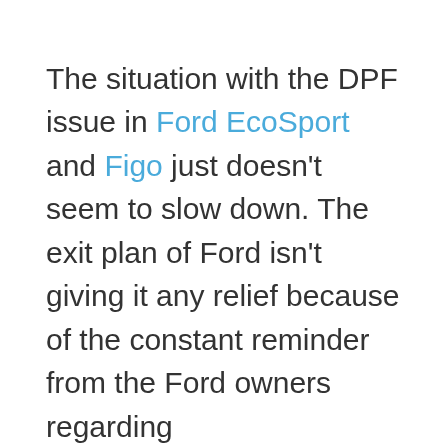The situation with the DPF issue in Ford EcoSport and Figo just doesn't seem to slow down. The exit plan of Ford isn't giving it any relief because of the constant reminder from the Ford owners regarding